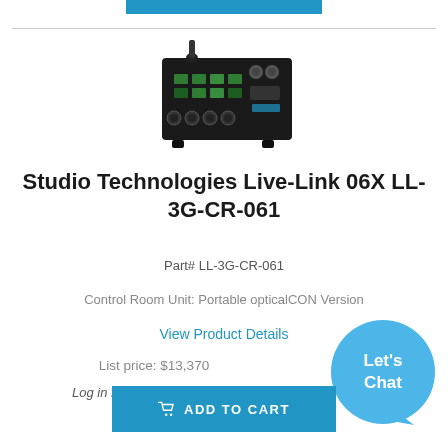[Figure (photo): Studio Technologies Live-Link 06X LL-3G-CR-061 audio equipment unit, front view showing rack-mount device with knobs and ports]
Studio Technologies  Live-Link 06X LL-3G-CR-061
Part# LL-3G-CR-061
Control Room Unit: Portable opticalCON Version
View Product Details
List price: $13,370
Log in for your BEST PRI...
[Figure (illustration): Blue speech bubble chat widget with text 'Let's Chat']
ADD TO CART